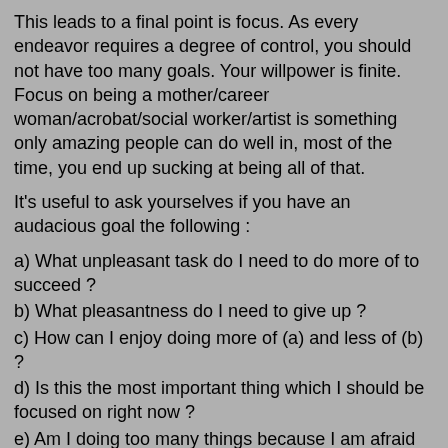This leads to a final point is focus. As every endeavor requires a degree of control, you should not have too many goals. Your willpower is finite. Focus on being a mother/career woman/acrobat/social worker/artist is something only amazing people can do well in, most of the time, you end up sucking at being all of that.
It's useful to ask yourselves if you have an audacious goal the following :
a) What unpleasant task do I need to do more of to succeed ?
b) What pleasantness do I need to give up ?
c) How can I enjoy doing more of (a) and less of (b) ?
d) Is this the most important thing which I should be focused on right now ?
e) Am I doing too many things because I am afraid of commitment I have to give for that one goal.
The last point is an important one. A common method of self-sabotage is to do something with lukewarm effort so that you will not have to confront your lack of talent or ability.